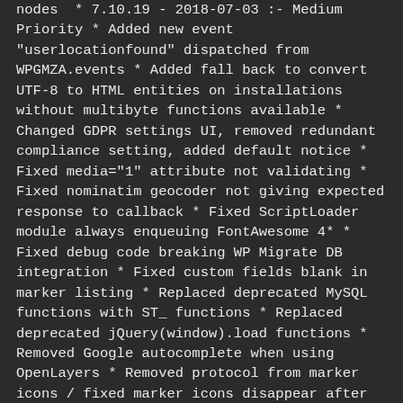nodes * 7.10.19 - 2018-07-03 :- Medium Priority * Added new event "userlocationfound" dispatched from WPGMZA.events * Added fall back to convert UTF-8 to HTML entities on installations without multibyte functions available * Changed GDPR settings UI, removed redundant compliance setting, added default notice * Fixed media="1" attribute not validating * Fixed nominatim geocoder not giving expected response to callback * Fixed ScriptLoader module always enqueuing FontAwesome 4* * Fixed debug code breaking WP Migrate DB integration * Fixed custom fields blank in marker listing * Replaced deprecated MySQL functions with ST_ functions * Replaced deprecated jQuery(window).load functions * Removed Google autocomplete when using OpenLayers * Removed protocol from marker icons / fixed marker icons disappear after switching to https:// * * 7.10.18 - 2018-07-02 :- Medium Priority * Fixed GDPR back end warning appearing when GDPR compliance is enabled * * 7.10.17 - 2018-06-29 :- Medium Priority * Fixed country restriction broken in store locator * Added dismissable admin GDPR warning when GDPR compliance has been switched off * Fixed GDPR settings blank by default on some installations * * 7.10.16 - 2018-06-21 :- Medium priority * Fixed global settings lost * Fixed whitespace matched in version variable * * 7.10.15 - 2018-06-14 :- Medium priority * Fixed